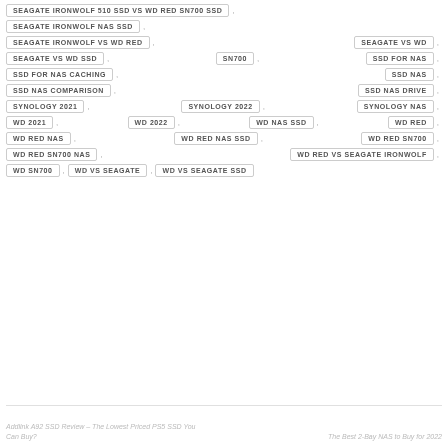SEAGATE IRONWOLF 510 SSD VS WD RED SN700 SSD
SEAGATE IRONWOLF NAS SSD
SEAGATE IRONWOLF VS WD RED
SEAGATE VS WD
SEAGATE VS WD SSD
SN700
SSD FOR NAS
SSD FOR NAS CACHING
SSD NAS
SSD NAS COMPARISON
SSD NAS DRIVE
SYNOLOGY 2021
SYNOLOGY 2022
SYNOLOGY NAS
WD 2021
WD 2022
WD NAS SSD
WD RED
WD RED NAS
WD RED NAS SSD
WD RED SN700
WD RED SN700 NAS
WD RED VS SEAGATE IRONWOLF
WD SN700
WD VS SEAGATE
WD VS SEAGATE SSD
Addlink A92 SSD Review – The Lowest Priced PS5 SSD You Can Buy?
The Best 2-Bay NAS to Buy for 2022